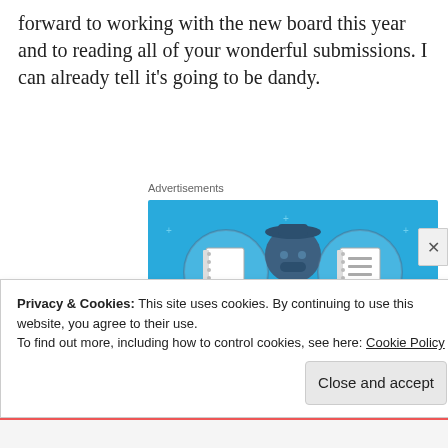forward to working with the new board this year and to reading all of your wonderful submissions. I can already tell it's going to be dandy.
Advertisements
[Figure (illustration): Day One journaling app advertisement on blue background. Shows a person holding a phone with two notebook icons on either side. Text reads 'DAY ONE' and 'The only journaling app you'll ever need.']
Privacy & Cookies: This site uses cookies. By continuing to use this website, you agree to their use.
To find out more, including how to control cookies, see here: Cookie Policy